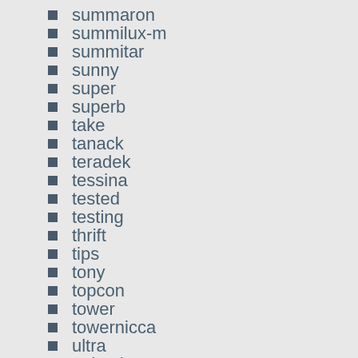summaron
summilux-m
summitar
sunny
super
superb
take
tanack
teradek
tessina
tested
testing
thrift
tips
tony
topcon
tower
towernicca
ultra
unboxing
Uncategorized
underrated